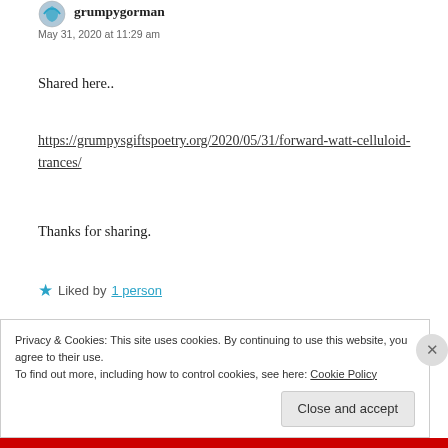grumpygorman
May 31, 2020 at 11:29 am
Shared here..
https://grumpysgiftspoetry.org/2020/05/31/forward-watt-celluloid-trances/
Thanks for sharing.
Liked by 1 person
REPLY
Privacy & Cookies: This site uses cookies. By continuing to use this website, you agree to their use. To find out more, including how to control cookies, see here: Cookie Policy
Close and accept